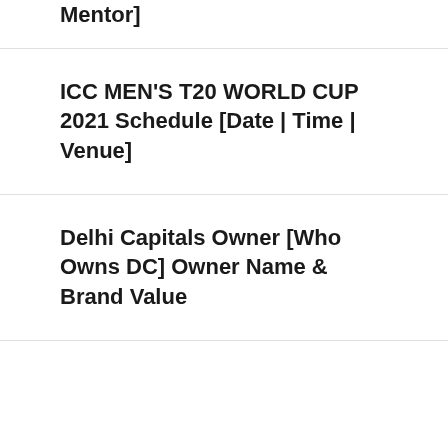Mentor]
ICC MEN'S T20 WORLD CUP 2021 Schedule [Date | Time | Venue]
Delhi Capitals Owner [Who Owns DC] Owner Name & Brand Value